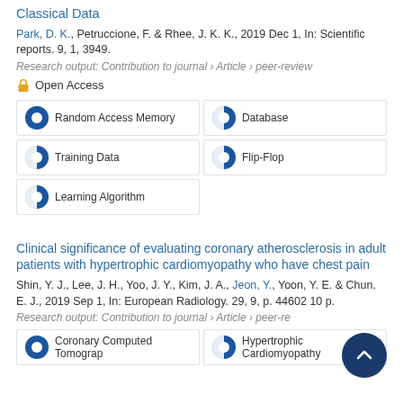Classical Data
Park, D. K., Petruccione, F. & Rhee, J. K. K., 2019 Dec 1, In: Scientific reports. 9, 1, 3949.
Research output: Contribution to journal › Article › peer-review
Open Access
Random Access Memory
Database
Training Data
Flip-Flop
Learning Algorithm
Clinical significance of evaluating coronary atherosclerosis in adult patients with hypertrophic cardiomyopathy who have chest pain
Shin, Y. J., Lee, J. H., Yoo, J. Y., Kim, J. A., Jeon, Y., Yoon, Y. E. & Chun, E. J., 2019 Sep 1, In: European Radiology. 29, 9, p. 4593-4602 10 p.
Research output: Contribution to journal › Article › peer-review
Coronary Computed Tomograp
Hypertrophic Cardiomyopathy